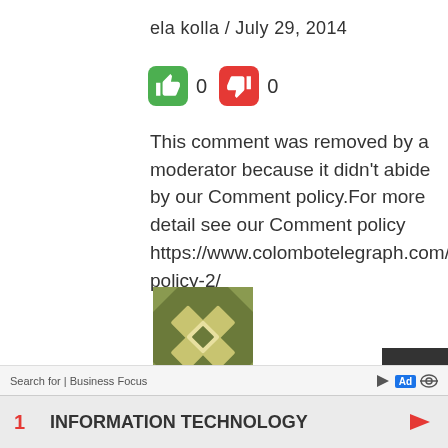ela kolla / July 29, 2014
[Figure (infographic): Thumbs up green button with count 0 and thumbs down red button with count 0]
This comment was removed by a moderator because it didn't abide by our Comment policy.For more detail see our Comment policy https://www.colombotelegraph.com/index.php/comments-policy-2/
[Figure (illustration): Decorative avatar icon with geometric diamond pattern in olive/dark green colors]
ela kolla / July 29, 2014
[Figure (infographic): Thumbs up green button and thumbs down red button partially visible]
Search for | Business Focus  Ad  1  INFORMATION TECHNOLOGY